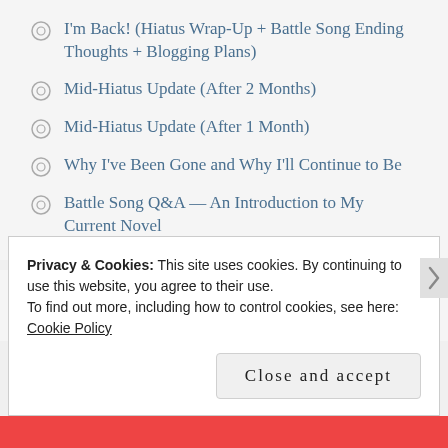I'm Back! (Hiatus Wrap-Up + Battle Song Ending Thoughts + Blogging Plans)
Mid-Hiatus Update (After 2 Months)
Mid-Hiatus Update (After 1 Month)
Why I've Been Gone and Why I'll Continue to Be
Battle Song Q&A — An Introduction to My Current Novel
ARCHIVES
Privacy & Cookies: This site uses cookies. By continuing to use this website, you agree to their use.
To find out more, including how to control cookies, see here: Cookie Policy
Close and accept